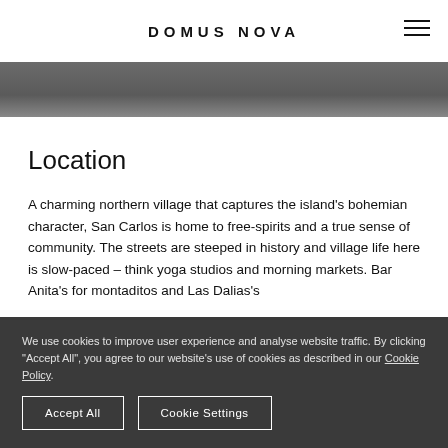DOMUS NOVA
[Figure (photo): Dark grey banner/image strip at the top of the page below the navigation header]
Location
A charming northern village that captures the island's bohemian character, San Carlos is home to free-spirits and a true sense of community. The streets are steeped in history and village life here is slow-paced – think yoga studios and morning markets. Bar Anita's for montaditos and Las Dalias's
We use cookies to improve user experience and analyse website traffic. By clicking "Accept All", you agree to our website's use of cookies as described in our Cookie Policy.
Accept All
Cookie Settings